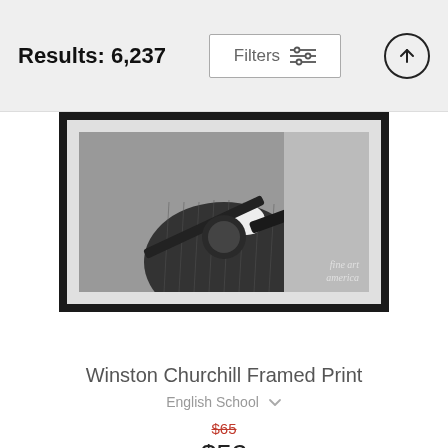Results: 6,237
Filters
[Figure (photo): Black and white framed print showing Winston Churchill holding a Thompson submachine gun, with 'fine art america' watermark]
Winston Churchill Framed Print
English School
$65 (crossed out, original price) $52 (sale price)
[Figure (photo): Partial view of second framed print, partially cropped at bottom of page, black and white image with small label/tag]